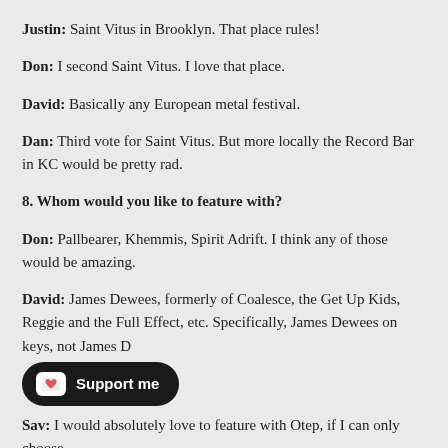Justin: Saint Vitus in Brooklyn. That place rules!
Don: I second Saint Vitus. I love that place.
David: Basically any European metal festival.
Dan: Third vote for Saint Vitus. But more locally the Record Bar in KC would be pretty rad.
8. Whom would you like to feature with?
Don: Pallbearer, Khemmis, Spirit Adrift. I think any of those would be amazing.
David: James Dewees, formerly of Coalesce, the Get Up Kids, Reggie and the Full Effect, etc. Specifically, James Dewees on keys, not James D
[Figure (other): Support me button (Ko-fi style) with heart icon]
Sav: I would absolutely love to feature with Otep, if I can only choose